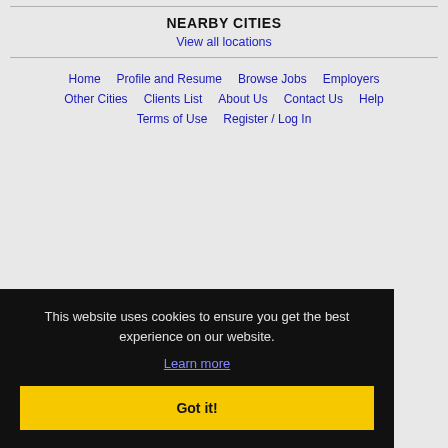NEARBY CITIES
View all locations
Home
Profile and Resume
Browse Jobs
Employers
Other Cities
Clients List
About Us
Contact Us
Help
Terms of Use
Register / Log In
This website uses cookies to ensure you get the best experience on our website.
Learn more
Got it!